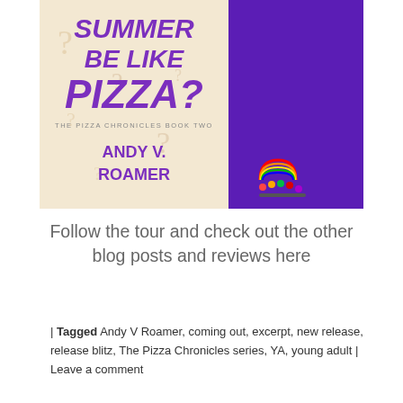[Figure (illustration): Book cover of 'Why Can't Summer Be Like Pizza?' by Andy V. Roamer (The Pizza Chronicles Book Two), shown alongside a purple panel with white text describing the book's plot about a boy navigating his summer between freshman and sophomore years in high school, his sexual feelings, summer job, and his immigrant parents' efforts at gaining US citizenship. A rainbow-colored people logo appears on the purple panel.]
Follow the tour and check out the other blog posts and reviews here
| Tagged Andy V Roamer, coming out, excerpt, new release, release blitz, The Pizza Chronicles series, YA, young adult | Leave a comment